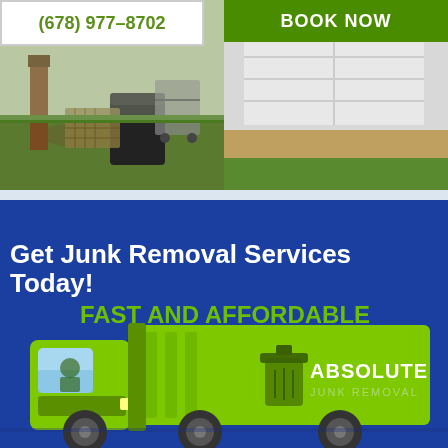(678) 977-8702
BOOK NOW
[Figure (photo): Before photo: backyard with junk, old furniture, and debris on grass]
[Figure (photo): After photo: clean driveway and garage area after junk removal]
Get Junk Removal Services Today!
FAST AND AFFORDABLE
[Figure (illustration): Green junk removal truck illustration with Absolute Junk Removal logo and branding on the side]